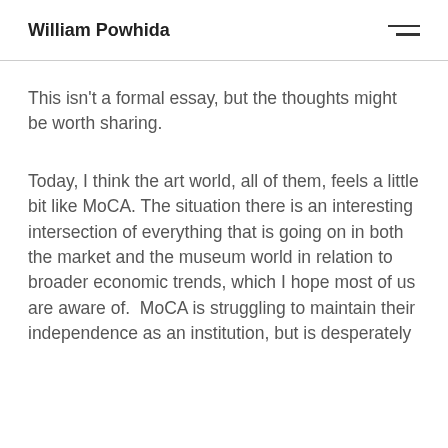William Powhida
This isn't a formal essay, but the thoughts might be worth sharing.
Today, I think the art world, all of them, feels a little bit like MoCA. The situation there is an interesting intersection of everything that is going on in both the market and the museum world in relation to broader economic trends, which I hope most of us are aware of.  MoCA is struggling to maintain their independence as an institution, but is desperately